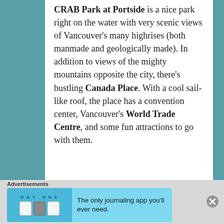CRAB Park at Portside is a nice park right on the water with very scenic views of Vancouver's many highrises (both manmade and geologically made). In addition to views of the mighty mountains opposite the city, there's bustling Canada Place. With a cool sail-like roof, the place has a convention center, Vancouver's World Trade Centre, and some fun attractions to go with them.
Advertisements
[Figure (other): Advertisement banner for Day One journaling app with text: The only journaling app you'll ever need.]